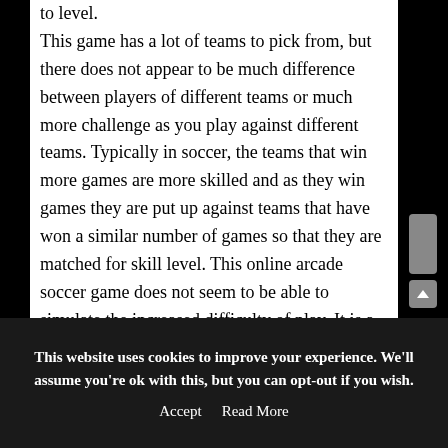to level.

This game has a lot of teams to pick from, but there does not appear to be much difference between players of different teams or much more challenge as you play against different teams. Typically in soccer, the teams that win more games are more skilled and as they win games they are put up against teams that have won a similar number of games so that they are matched for skill level. This online arcade soccer game does not seem to be able to simulate the increased difficulty of play. It is a fun game to play for a few minutes to try and score goals and get points but does not hold your attention for a
This website uses cookies to improve your experience. We'll assume you're ok with this, but you can opt-out if you wish.
Accept   Read More